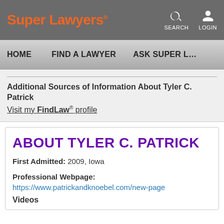Super Lawyers — SEARCH LOGIN
HOME  FIND A LAWYER  ASK SUPER L…
Additional Sources of Information About Tyler C. Patrick
Visit my FindLaw® profile
ABOUT TYLER C. PATRICK
First Admitted: 2009, Iowa
Professional Webpage: https://www.patrickandknoebel.com/new-page
Videos